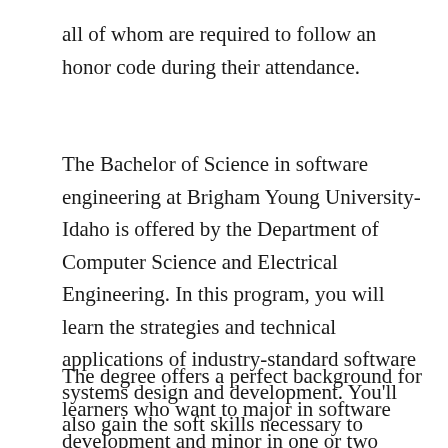all of whom are required to follow an honor code during their attendance.
The Bachelor of Science in software engineering at Brigham Young University-Idaho is offered by the Department of Computer Science and Electrical Engineering. In this program, you will learn the strategies and technical applications of industry-standard software systems design and development. You'll also gain the soft skills necessary to communicate with other practitioners and stakeholders.
The degree offers a perfect background for learners who want to major in software development and minor in one or two other subjects. The department